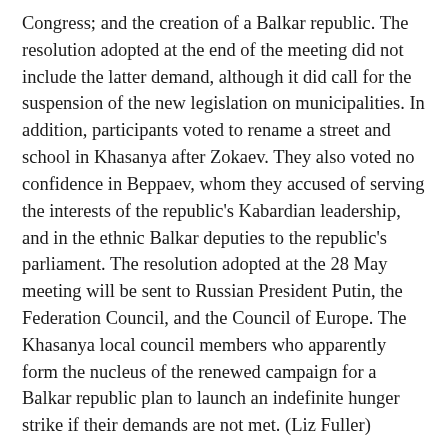Congress; and the creation of a Balkar republic. The resolution adopted at the end of the meeting did not include the latter demand, although it did call for the suspension of the new legislation on municipalities. In addition, participants voted to rename a street and school in Khasanya after Zokaev. They also voted no confidence in Beppaev, whom they accused of serving the interests of the republic's Kabardian leadership, and in the ethnic Balkar deputies to the republic's parliament. The resolution adopted at the 28 May meeting will be sent to Russian President Putin, the Federation Council, and the Council of Europe. The Khasanya local council members who apparently form the nucleus of the renewed campaign for a Balkar republic plan to launch an indefinite hunger strike if their demands are not met. (Liz Fuller)